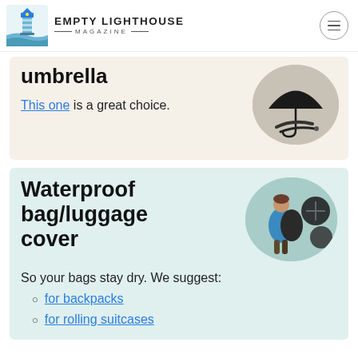Empty Lighthouse Magazine
umbrella
This one is a great choice.
[Figure (photo): A black compact umbrella folded, shown against white background]
Waterproof bag/luggage cover
[Figure (photo): A person wearing a blue jacket with a black waterproof backpack cover, and separate cover accessories shown]
So your bags stay dry. We suggest:
for backpacks
for rolling suitcases